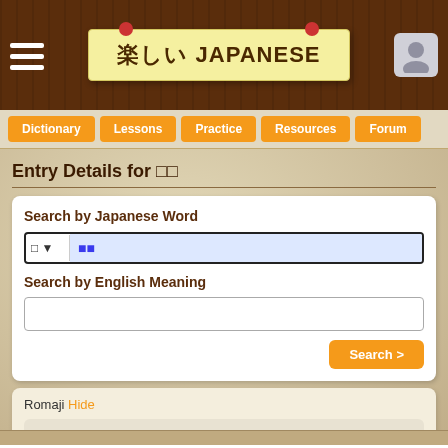楽しい JAPANESE
Dictionary | Lessons | Practice | Resources | Forum
Entry Details for 〓〓
Search by Japanese Word
Search by English Meaning
Romaji Hide
〓〓 (large display characters)